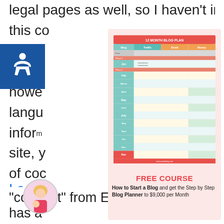legal pages as well, so I haven't included
this c... ried... some... howe... langu... inform... site, y... of coo... on you...
[Figure (infographic): 12 Month Blog Plan table with columns: Blog, Traffic, Email, Money and rows for each month Jan through Dec with colored sections]
FREE COURSE
How to Start a Blog and get the Step by Step Blog Planner to $9,000 per Month
Legal
[Figure (photo): Circular avatar photo of a woman with a child]
"consent" from EU visitors but it has a